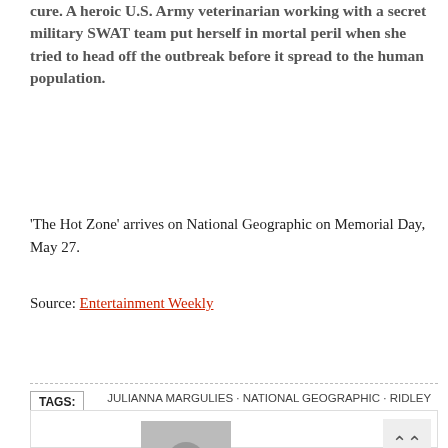cure. A heroic U.S. Army veterinarian working with a secret military SWAT team put herself in mortal peril when she tried to head off the outbreak before it spread to the human population.
'The Hot Zone' arrives on National Geographic on Memorial Day, May 27.
Source: Entertainment Weekly
TAGS: JULIANNA MARGULIES · NATIONAL GEOGRAPHIC · RIDLEY SCOTT · THE HOT ZONE
[Figure (other): Placeholder image with grey background and circle icon, and a scroll-to-top button]